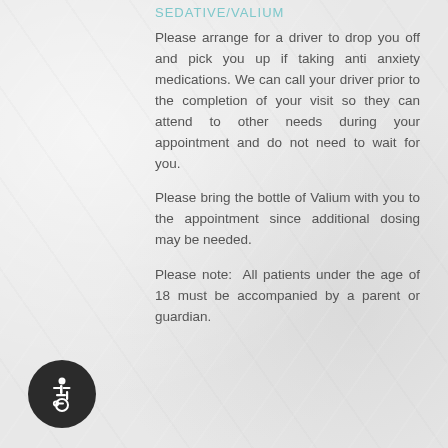SEDATIVE/VALIUM
Please arrange for a driver to drop you off and pick you up if taking anti anxiety medications. We can call your driver prior to the completion of your visit so they can attend to other needs during your appointment and do not need to wait for you.
Please bring the bottle of Valium with you to the appointment since additional dosing may be needed.
Please note: All patients under the age of 18 must be accompanied by a parent or guardian.
[Figure (illustration): Wheelchair accessibility icon — white wheelchair figure on dark circular background]